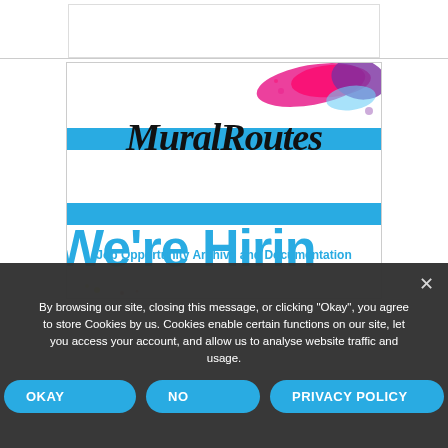[Figure (illustration): MuralRoutes logo and 'We're Hiring' promotional image. Features the text 'MuralRoutes' in brush script font over two horizontal cyan/blue bands, with colorful paint splatters (pink, purple, blue) in the top-right corner. Below reads 'We're Hiring' in large bold cyan text.]
By browsing our site, closing this message, or clicking “Okay”, you agree to store Cookies by us. Cookies enable certain functions on our site, let you access your account, and allow us to analyse website traffic and usage.
OKAY
NO
PRIVACY POLICY
Job Opportunity Archive and Documentation